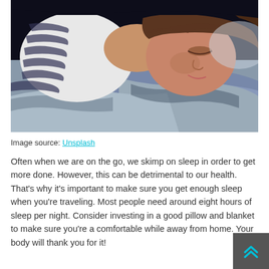[Figure (photo): A person sleeping, lying on their side on a bed with white/blue bedding. They are wearing a striped top. The image is taken from above at an angle, with a dark background.]
Image source: Unsplash
Often when we are on the go, we skimp on sleep in order to get more done. However, this can be detrimental to our health. That's why it's important to make sure you get enough sleep when you're traveling. Most people need around eight hours of sleep per night. Consider investing in a good pillow and blanket to make sure you're a comfortable while away from home. Your body will thank you for it!